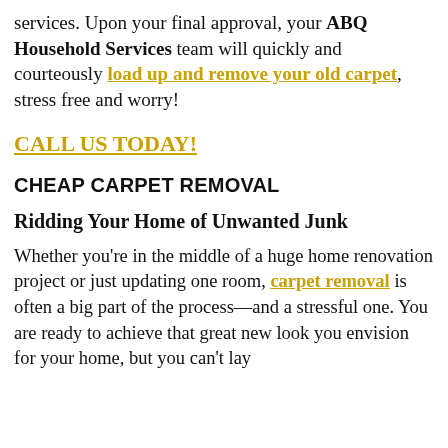services. Upon your final approval, your ABQ Household Services team will quickly and courteously load up and remove your old carpet, stress free and worry!
CALL US TODAY!
CHEAP CARPET REMOVAL
Ridding Your Home of Unwanted Junk
Whether you're in the middle of a huge home renovation project or just updating one room, carpet removal is often a big part of the process—and a stressful one. You are ready to achieve that great new look you envision for your home, but you can't lay...